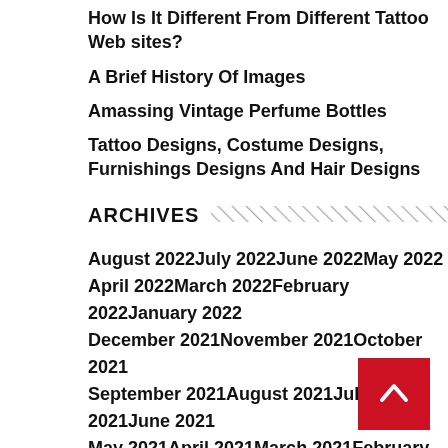How Is It Different From Different Tattoo Web sites?
A Brief History Of Images
Amassing Vintage Perfume Bottles
Tattoo Designs, Costume Designs, Furnishings Designs And Hair Designs
ARCHIVES
August 2022July 2022June 2022May 2022April 2022March 2022February 2022January 2022December 2021November 2021October 2021September 2021August 2021July 2021June 2021May 2021April 2021March 2021February 2021January 2021December 2020November 2020